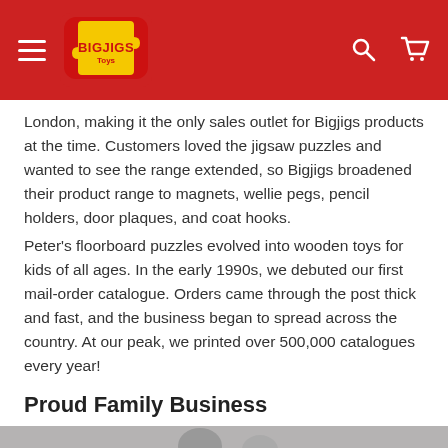Bigjigs Toys navigation bar
London, making it the only sales outlet for Bigjigs products at the time. Customers loved the jigsaw puzzles and wanted to see the range extended, so Bigjigs broadened their product range to magnets, wellie pegs, pencil holders, door plaques, and coat hooks.
Peter's floorboard puzzles evolved into wooden toys for kids of all ages. In the early 1990s, we debuted our first mail-order catalogue. Orders came through the post thick and fast, and the business began to spread across the country. At our peak, we printed over 500,000 catalogues every year!
Proud Family Business
[Figure (photo): Bottom of page photo strip showing people, partially visible]